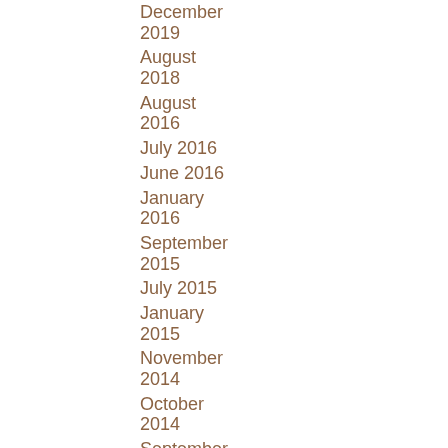December 2019
August 2018
August 2016
July 2016
June 2016
January 2016
September 2015
July 2015
January 2015
November 2014
October 2014
September